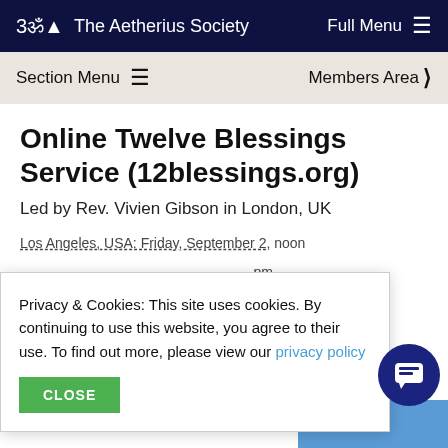The Aetherius Society   Full Menu
Section Menu   Members Area
Online Twelve Blessings Service (12blessings.org)
Led by Rev. Vivien Gibson in London, UK
Los Angeles, USA: Friday, September 2, noon
pm
0 pm
pm
00 pm
Privacy & Cookies: This site uses cookies. By continuing to use this website, you agree to their use. To find out more, please view our privacy policy
CLOSE
wisdom